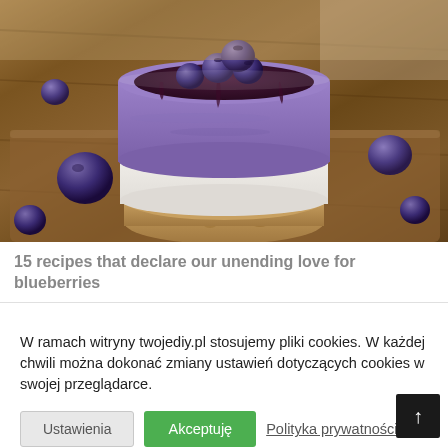[Figure (photo): Close-up photo of a mini blueberry cheesecake with purple mousse layer, white cream layer, and oat/nut crust base, topped with fresh blueberries and blueberry jam compote, placed on a wooden board with scattered blueberries in background.]
15 recipes that declare our unending love for blueberries
W ramach witryny twojediy.pl stosujemy pliki cookies. W każdej chwili można dokonać zmiany ustawień dotyczących cookies w swojej przeglądarce.
Ustawienia
Akceptuję
Polityka prywatności